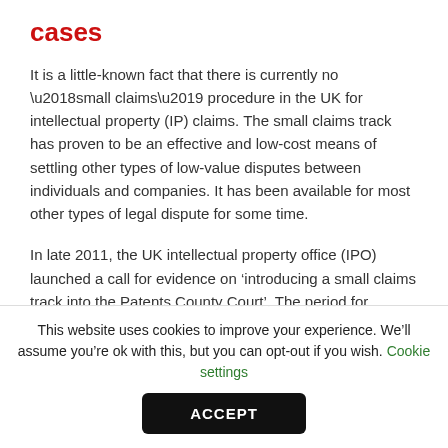cases
It is a little-known fact that there is currently no ‘small claims’ procedure in the UK for intellectual property (IP) claims. The small claims track has proven to be an effective and low-cost means of settling other types of low-value disputes between individuals and companies. It has been available for most other types of legal dispute for some time.
In late 2011, the UK intellectual property office (IPO) launched a call for evidence on ‘introducing a small claims track into the Patents County Court’. The period for
This website uses cookies to improve your experience. We’ll assume you’re ok with this, but you can opt-out if you wish. Cookie settings
ACCEPT